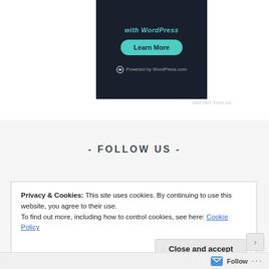[Figure (screenshot): WordPress advertisement banner with dark background, teal 'Learn More' button, and 'Powered by WordPress.com' text]
REPORT THIS AD
- FOLLOW US -
Privacy & Cookies: This site uses cookies. By continuing to use this website, you agree to their use.
To find out more, including how to control cookies, see here: Cookie Policy
Close and accept